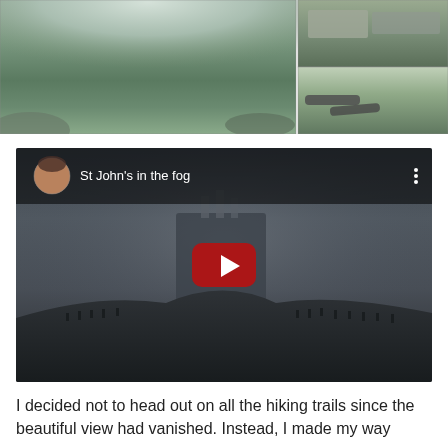[Figure (photo): Large panoramic photo of misty green hillside with fog, and two smaller photos on the right: one showing stone fortification steps from above, another showing cannons on a grassy hillside.]
[Figure (screenshot): YouTube video embed showing 'St John's in the fog' — a dark misty scene of a hilltop structure (Signal Hill/Cabot Tower) in fog with people silhouetted along the ridge. Video player with avatar, title, three-dot menu, and red play button.]
I decided not to head out on all the hiking trails since the beautiful view had vanished. Instead, I made my way